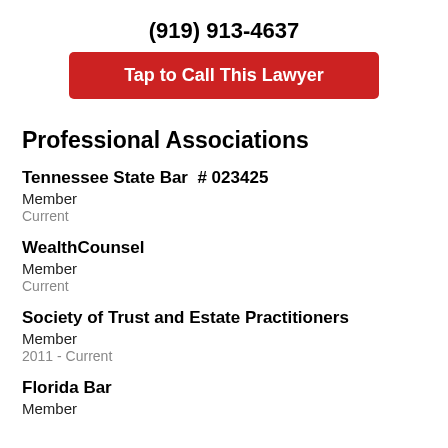(919) 913-4637
[Figure (other): Red button labeled 'Tap to Call This Lawyer']
Professional Associations
Tennessee State Bar  # 023425
Member
Current
WealthCounsel
Member
Current
Society of Trust and Estate Practitioners
Member
2011 - Current
Florida Bar
Member